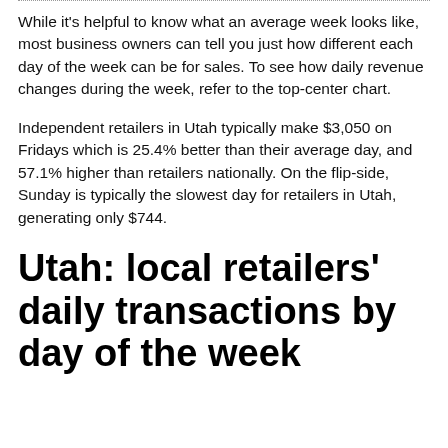While it's helpful to know what an average week looks like, most business owners can tell you just how different each day of the week can be for sales. To see how daily revenue changes during the week, refer to the top-center chart.
Independent retailers in Utah typically make $3,050 on Fridays which is 25.4% better than their average day, and 57.1% higher than retailers nationally. On the flip-side, Sunday is typically the slowest day for retailers in Utah, generating only $744.
Utah: local retailers' daily transactions by day of the week